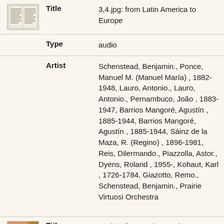[Figure (photo): Thumbnail image of album/media item 3,4 showing printed pages]
| Field | Value |
| --- | --- |
| Title | 3,4.jpg: from Latin America to Europe |
| Type | audio |
| Artist | Schenstead, Benjamin., Ponce, Manuel M. (Manuel María) , 1882-1948, Lauro, Antonio., Lauro, Antonio., Pernambuco, João , 1883-1947, Barrios Mangoré, Agustín , 1885-1944, Barrios Mangoré, Agustín , 1885-1944, Sáinz de la Maza, R. (Regino) , 1896-1981, Reis, Dilermando., Piazzolla, Astor., Dyens, Roland , 1955-, Kohaut, Karl , 1726-1784, Giazotto, Remo., Schenstead, Benjamin., Prairie Virtuosi Orchestra |
[Figure (photo): Thumbnail image of album/media item 5,6 showing green nature scene]
| Field | Value |
| --- | --- |
| Title | 5,6.jpg: from Latin America to Europe |